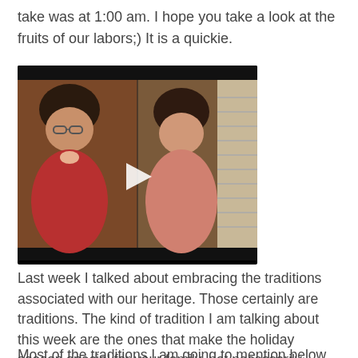take was at 1:00 am. I hope you take a look at the fruits of our labors;) It is a quickie.
[Figure (screenshot): Embedded video player showing two women sitting side by side, with a play button in the center. The video has a black bar at top and bottom.]
Last week I talked about embracing the traditions associated with our heritage. Those certainly are traditions. The kind of tradition I am talking about this week are the ones that make the holiday season special for your family, not necessarily based on your heritage. They don't have to cost money either.
Most of the traditions I am going to mention below started